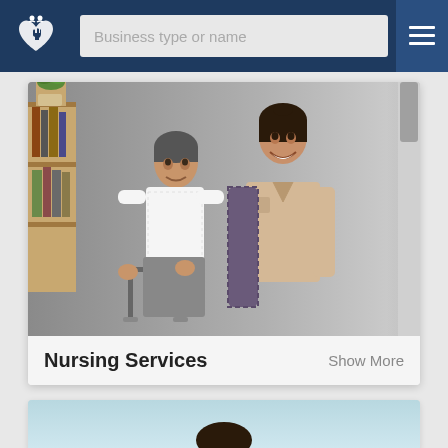Business type or name
[Figure (photo): A young female nurse/caregiver smiling and helping an elderly woman who is using a walker, in a home care setting with a bookshelf and plant visible in the background.]
Nursing Services
Show More
[Figure (photo): Partial view of a second card showing a person outdoors against a light blue sky background.]